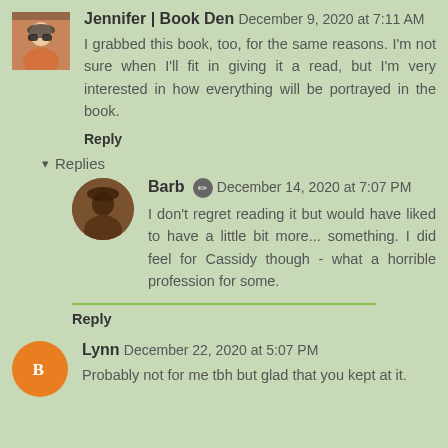Jennifer | Book Den  December 9, 2020 at 7:11 AM
I grabbed this book, too, for the same reasons. I'm not sure when I'll fit in giving it a read, but I'm very interested in how everything will be portrayed in the book.
Reply
▾ Replies
Barb  December 14, 2020 at 7:07 PM
I don't regret reading it but would have liked to have a little bit more... something. I did feel for Cassidy though - what a horrible profession for some.
Reply
Lynn  December 22, 2020 at 5:07 PM
Probably not for me tbh but glad that you kept at it.